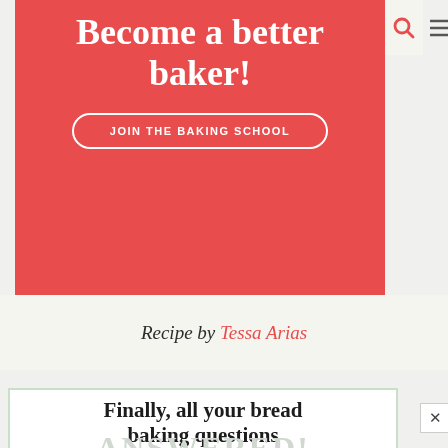[Figure (other): Red promotional banner with white text 'Become a better baker!' and a white outlined button 'JOIN THE BAKING SCHOOL', with search and menu icons in top right]
Recipe by Tessa Arias
[Figure (other): Advertisement box with text 'Finally, all your bread baking questions ANSWERED!' with green border and close button]